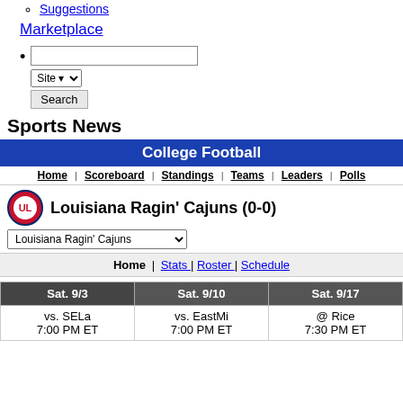Suggestions
Marketplace
Search box with Site dropdown and Search button
Sports News
College Football
Home | Scoreboard | Standings | Teams | Leaders | Polls
Louisiana Ragin' Cajuns (0-0)
Louisiana Ragin' Cajuns (dropdown)
Home | Stats | Roster | Schedule
| Sat. 9/3 | Sat. 9/10 | Sat. 9/17 |
| --- | --- | --- |
| vs. SELa
7:00 PM ET | vs. EastMi
7:00 PM ET | @ Rice
7:30 PM ET |